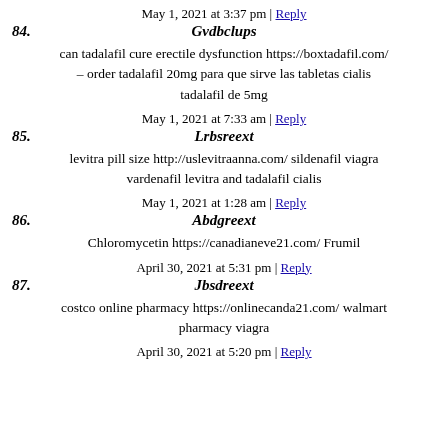84. Gvdbclups — May 1, 2021 at 3:37 pm | Reply
can tadalafil cure erectile dysfunction https://boxtadafil.com/ – order tadalafil 20mg para que sirve las tabletas cialis tadalafil de 5mg
85. Lrbsreext — May 1, 2021 at 7:33 am | Reply
levitra pill size http://uslevitraanna.com/ sildenafil viagra vardenafil levitra and tadalafil cialis
86. Abdgreext — May 1, 2021 at 1:28 am | Reply
Chloromycetin https://canadianeve21.com/ Frumil
87. Jbsdreext — April 30, 2021 at 5:31 pm | Reply
costco online pharmacy https://onlinecanda21.com/ walmart pharmacy viagra
April 30, 2021 at 5:20 pm | Reply